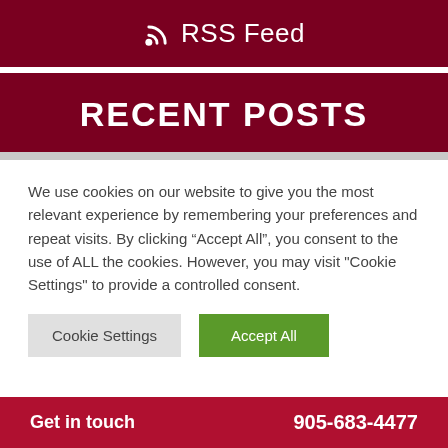RSS Feed
RECENT POSTS
We use cookies on our website to give you the most relevant experience by remembering your preferences and repeat visits. By clicking “Accept All”, you consent to the use of ALL the cookies. However, you may visit "Cookie Settings" to provide a controlled consent.
Get in touch   905-683-4477